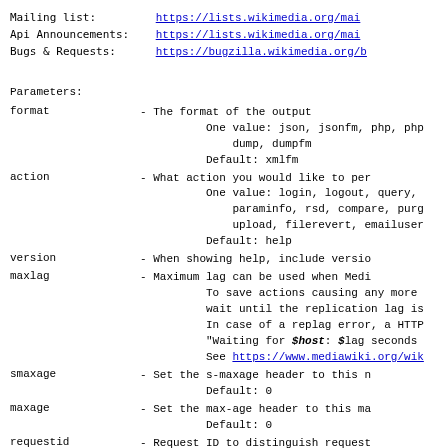Mailing list:         https://lists.wikimedia.org/mai...
Api Announcements:    https://lists.wikimedia.org/mai...
Bugs & Requests:      https://bugzilla.wikimedia.org/b...
Parameters:
format - The format of the output
  One value: json, jsonfm, php, php...
      dump, dumpfm
  Default: xmlfm
action - What action you would like to per...
  One value: login, logout, query,...
      paraminfo, rsd, compare, purg...
      upload, filerevert, emailuser...
  Default: help
version - When showing help, include versio...
maxlag - Maximum lag can be used when Medi...
  To save actions causing any more...
  wait until the replication lag is...
  In case of a replag error, a HTTP...
  "Waiting for $host: $lag seconds...
  See https://www.mediawiki.org/wik...
smaxage - Set the s-maxage header to this n...
  Default: 0
maxage - Set the max-age header to this ma...
  Default: 0
requestid - Request ID to distinguish request...